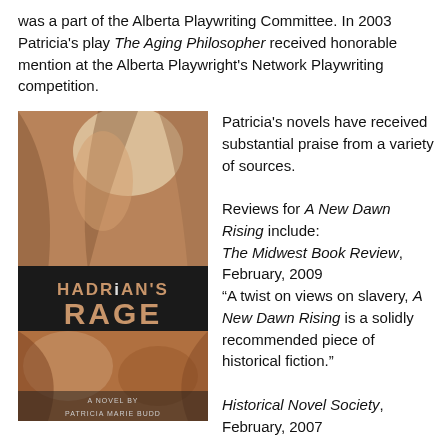was a part of the Alberta Playwriting Committee. In 2003 Patricia's play The Aging Philosopher received honorable mention at the Alberta Playwright's Network Playwriting competition.
[Figure (photo): Book cover for Hadrian's Rage, a novel by Patricia Marie Budd. Shows close-up of skin/fabric textures in warm tones with the title text in large letters.]
Patricia's novels have received substantial praise from a variety of sources.

Reviews for A New Dawn Rising include:
The Midwest Book Review, February, 2009
"A twist on views on slavery, A New Dawn Rising is a solidly recommended piece of historical fiction."

Historical Novel Society, February, 2007
“The book is very fast paced and will be enjoyed by readers of early American fiction and romance.”.